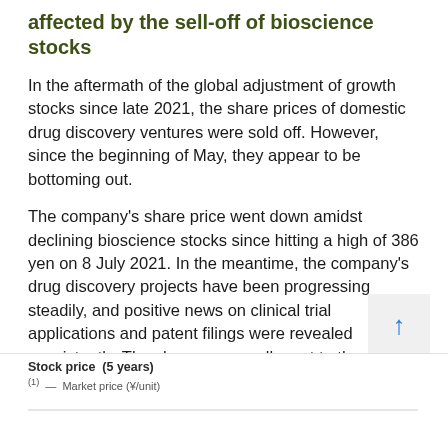affected by the sell-off of bioscience stocks
In the aftermath of the global adjustment of growth stocks since late 2021, the share prices of domestic drug discovery ventures were sold off. However, since the beginning of May, they appear to be bottoming out.
The company’s share price went down amidst declining bioscience stocks since hitting a high of 386 yen on 8 July 2021. In the meantime, the company’s drug discovery projects have been progressing steadily, and positive news on clinical trial applications and patent filings were revealed consistently. The shares may well react to the announcement of events that points to earnings generation, such as licence agreements with partners and milestone revenues.
Stock price  (5 years)
[Figure (line-chart): Stock price chart over 5 years, partially visible at page bottom with label 'Stock price (5 years)' and a legend starting to appear.]